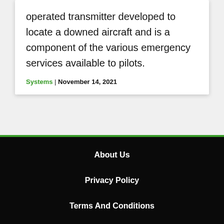operated transmitter developed to locate a downed aircraft and is a component of the various emergency services available to pilots.
Systems | November 14, 2021
About Us
Privacy Policy
Terms And Conditions